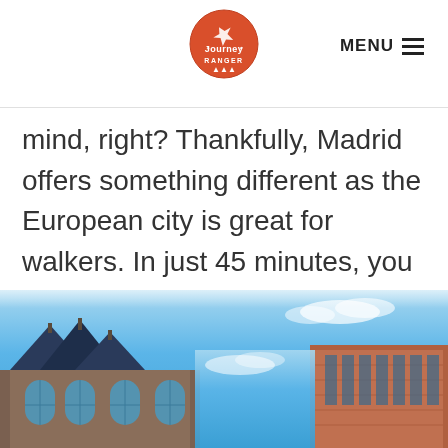Journey Ranger | MENU
mind, right? Thankfully, Madrid offers something different as the European city is great for walkers. In just 45 minutes, you could find yourself enjoying both El Retiro Park and the Temple of Debod.
[Figure (photo): Photo of historic Madrid buildings with ornate rooflines and large arched windows against a bright blue sky with light clouds. A modern brick building is visible on the right.]